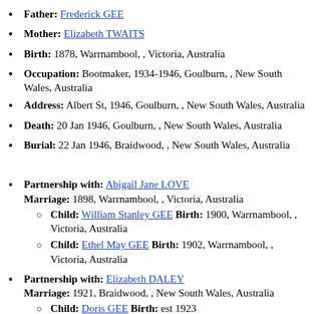Father: Frederick GEE
Mother: Elizabeth TWAITS
Birth: 1878, Warrnambool, , Victoria, Australia
Occupation: Bootmaker, 1934-1946, Goulburn, , New South Wales, Australia
Address: Albert St, 1946, Goulburn, , New South Wales, Australia
Death: 20 Jan 1946, Goulburn, , New South Wales, Australia
Burial: 22 Jan 1946, Braidwood, , New South Wales, Australia
Partnership with: Abigail Jane LOVE
Marriage: 1898, Warrnambool, , Victoria, Australia
Child: William Stanley GEE Birth: 1900, Warrnambool, , Victoria, Australia
Child: Ethel May GEE Birth: 1902, Warrnambool, , Victoria, Australia
Partnership with: Elizabeth DALEY
Marriage: 1921, Braidwood, , New South Wales, Australia
Child: Doris GEE Birth: est 1923